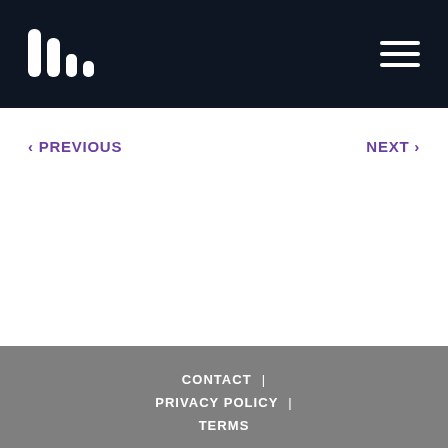Logo and navigation header
< PREVIOUS    NEXT >
CONTACT  |  PRIVACY POLICY  |  TERMS